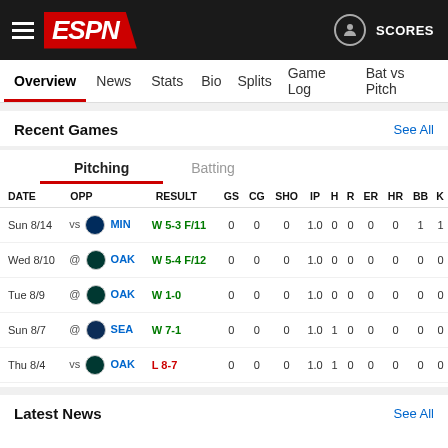ESPN — SCORES
Overview | News | Stats | Bio | Splits | Game Log | Bat vs Pitch
Recent Games — See All
| DATE | OPP | RESULT | GS | CG | SHO | IP | H | R | ER | HR | BB | K |
| --- | --- | --- | --- | --- | --- | --- | --- | --- | --- | --- | --- | --- |
| Sun 8/14 | vs MIN | W 5-3 F/11 | 0 | 0 | 0 | 1.0 | 0 | 0 | 0 | 0 | 1 | 1 |
| Wed 8/10 | @ OAK | W 5-4 F/12 | 0 | 0 | 0 | 1.0 | 0 | 0 | 0 | 0 | 0 | 0 |
| Tue 8/9 | @ OAK | W 1-0 | 0 | 0 | 0 | 1.0 | 0 | 0 | 0 | 0 | 0 | 0 |
| Sun 8/7 | @ SEA | W 7-1 | 0 | 0 | 0 | 1.0 | 1 | 0 | 0 | 0 | 0 | 0 |
| Thu 8/4 | vs OAK | L 8-7 | 0 | 0 | 0 | 1.0 | 1 | 0 | 0 | 0 | 0 | 0 |
Latest News — See All